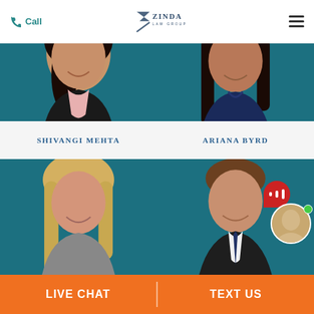Call | ZINDA LAW GROUP | Menu
[Figure (photo): Professional headshot of Shivangi Mehta against teal background, woman with dark hair, black blazer, pink blouse]
SHIVANGI MEHTA
[Figure (photo): Professional headshot of Ariana Byrd against teal background, woman with long dark hair, navy blue top]
ARIANA BYRD
[Figure (photo): Professional headshot of woman with blonde hair against teal background, gray blazer]
[Figure (photo): Professional headshot of man in suit and tie against teal background, with live chat avatar overlay]
LIVE CHAT | TEXT US